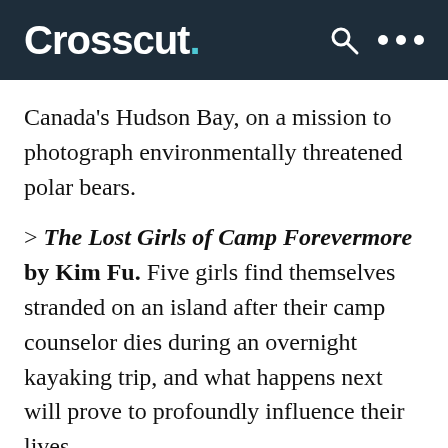Crosscut.
Canada's Hudson Bay, on a mission to photograph environmentally threatened polar bears.
> The Lost Girls of Camp Forevermore by Kim Fu. Five girls find themselves stranded on an island after their camp counselor dies during an overnight kayaking trip, and what happens next will prove to profoundly influence their lives.
> The Scent Keeper by Erica Bauermeister. The bestselling Port Townsend author's lyrical coming of age novel is about a girl